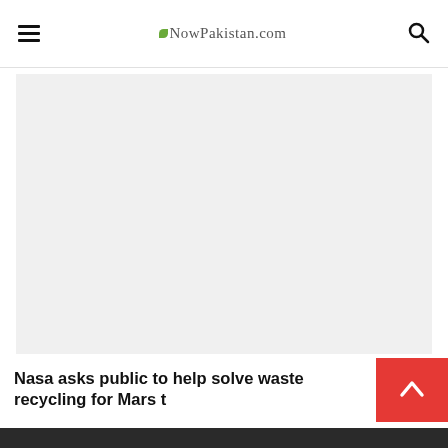NowPakistan.com
[Figure (other): Advertisement / placeholder gray block]
Nasa asks public to help solve waste recycling for Mars t
[Figure (photo): Partial dark photo at the bottom of the page, appears to show people or figure silhouettes]